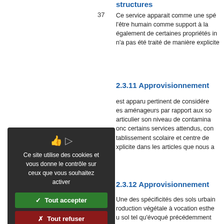structures
37   Ce service apparait comme une spé... l'être humain comme suit à la... également de certaines propriétés in... n'a pas été traité de manière explicite...
2.3.11 Approvisionnement...
est apparu pertinent de considére... es aménageurs par rapport aux so... articulier son niveau de contamina... onc certains services attendus, con... tablissement scolaire et centre de... xplicite dans les articles que nous a...
2.3.12 Approvisionnement...
Une des spécificités des sols urbain... roduction végétale à vocation esthe... u sol tel qu'évoqué précédemment... erts sont très recherchées par... ncontournables au regard de la qu... échelle de la parcelle, des espace...
[Figure (screenshot): Cookie consent dialog overlay with dark background. Contains title text 'Ce site utilise des cookies et vous donne le contrôle sur ceux que vous souhaitez activer', a green 'Tout accepter' button, a red 'Tout refuser' button, a white 'Personnaliser' button, and a 'Politique de confidentialité' link.]